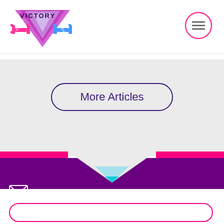[Figure (logo): Victory Fitness Centers logo with pink/blue dumbbells and downward triangle]
[Figure (illustration): Hamburger menu icon inside a pink circle outline]
[Figure (illustration): More Articles button with dark purple rounded border]
[Figure (illustration): V-shaped chevron transition from grey to purple footer with pink stripe accents]
Subscribe to our newsletter!
[Figure (illustration): White rounded email input field with pink border]